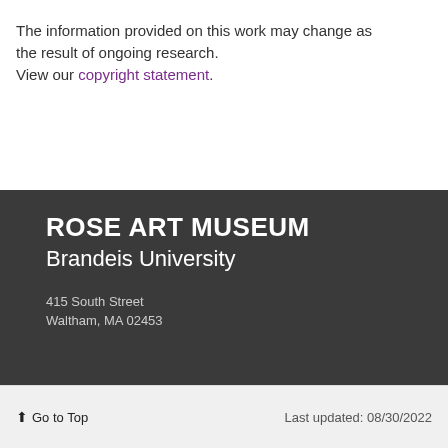The information provided on this work may change as the result of ongoing research. View our copyright statement.
ROSE ART MUSEUM
Brandeis University
415 South Street
Waltham, MA 02453
Go to Top | Last updated: 08/30/2022